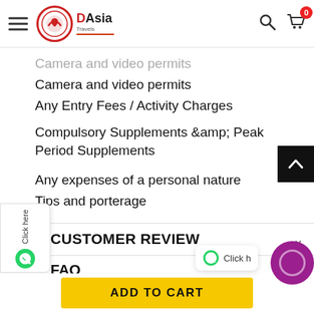DAsia Travels — navigation bar with logo, search, and cart
Camera and video permits
Any Entry Fees / Activity Charges
Compulsory Supplements &amp; Peak Period Supplements
Any expenses of a personal nature
Tips and porterage
CUSTOMER REVIEW
FAQ
TERM & CONDITION